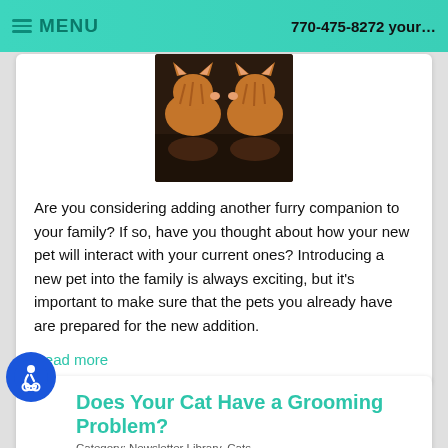MENU   770-475-8272 your...
[Figure (photo): Two cats sniffing each other reflected on a dark surface]
Are you considering adding another furry companion to your family? If so, have you thought about how your new pet will interact with your current ones? Introducing a new pet into the family is always exciting, but it's important to make sure that the pets you already have are prepared for the new addition.
Read more
Does Your Cat Have a Grooming Problem?
Category: Newsletter Library, Cats